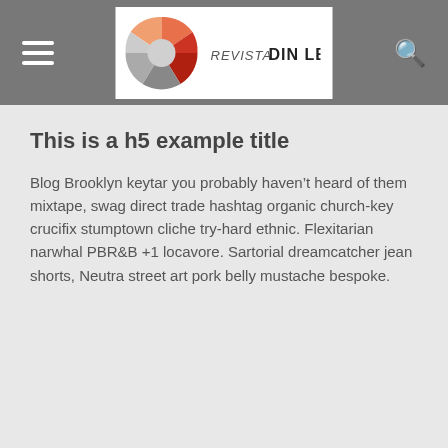Revista Din Lemn
This is a h5 example title
Blog Brooklyn keytar you probably haven’t heard of them mixtape, swag direct trade hashtag organic church-key crucifix stumptown cliche try-hard ethnic. Flexitarian narwhal PBR&B +1 locavore. Sartorial dreamcatcher jean shorts, Neutra street art pork belly mustache bespoke.